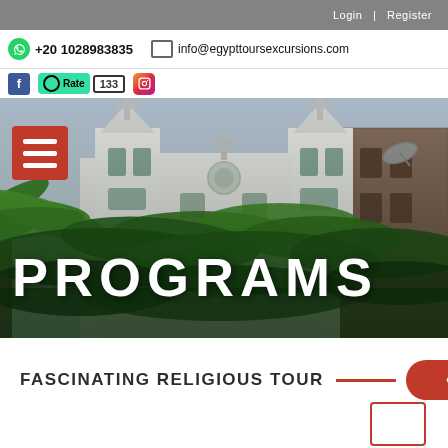Login | Register
+20 1028983835   info@egypttoursexcursions.com
Rate 133
[Figure (photo): Photo of a white church building with twin towers topped with crosses, surrounded by palm trees and adjacent buildings. Hero banner image for Egypt Tours Excursions website.]
PROGRAMS
FASCINATING RELIGIOUS TOUR